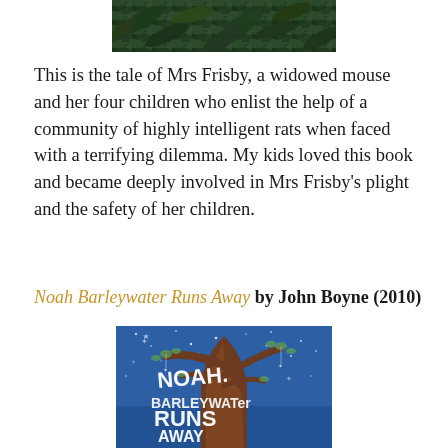[Figure (photo): Top portion of a book cover image showing dark green foliage or feathers]
This is the tale of Mrs Frisby, a widowed mouse and her four children who enlist the help of a community of highly intelligent rats when faced with a terrifying dilemma. My kids loved this book and became deeply involved in Mrs Frisby's plight and the safety of her children.
Noah Barleywater Runs Away by John Boyne (2010)
[Figure (photo): Book cover of Noah Barleywater Runs Away showing a large brown tree on a blue starry night background with white hand-lettered title text]